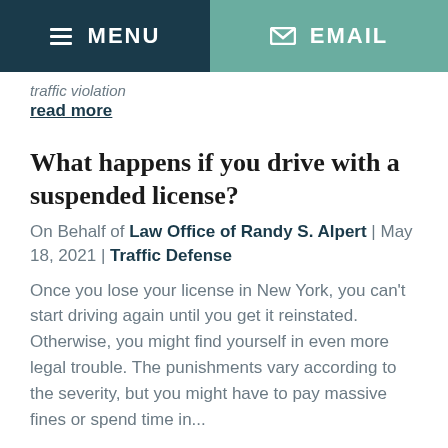MENU  EMAIL
traffic violation
read more
What happens if you drive with a suspended license?
On Behalf of Law Office of Randy S. Alpert | May 18, 2021 | Traffic Defense
Once you lose your license in New York, you can't start driving again until you get it reinstated. Otherwise, you might find yourself in even more legal trouble. The punishments vary according to the severity, but you might have to pay massive fines or spend time in...
read more